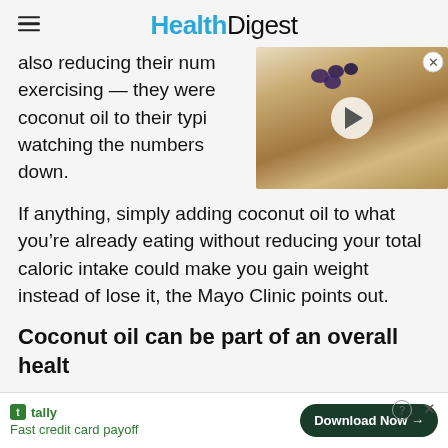HealthDigest
also reducing their num... exercising — they were... coconut oil to their typi... watching the numbers... down.
[Figure (photo): Video thumbnail showing a bowl of oatmeal with blueberries and banana slices, with a play button overlay and close button]
If anything, simply adding coconut oil to what you're already eating without reducing your total caloric intake could make you gain weight instead of lose it, the Mayo Clinic points out.
Coconut oil can be part of an overall healt...
Tally — Fast credit card payoff — Download Now →